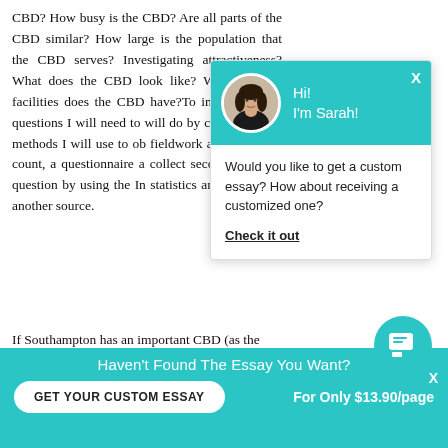CBD? How busy is the CBD? Are all parts of the CBD similar? How large is the population that the CBD serves? Investigating attractiveness? What does the CBD look like? What kind of facilities does the CBD have?To investigate these questions I will need to will do by carry out field methods I will use to ob fieldwork are land use s count, a questionnaire collect secondary data question by using the In statistics and a previou another source.
[Figure (screenshot): Chat popup widget with teal header showing a woman avatar and greeting 'Hi! I'm Sarah!' and body text 'Would you like to get a custom essay? How about receiving a customized one?' with a 'Check it out' link.]
If Southampton has an important CBD (as the
[Figure (screenshot): Bottom teal bar with text 'Haven't Found The Essay You Want?' and a white rounded button 'GET YOUR CUSTOM ESSAY' and text 'For Only $13.90/page']